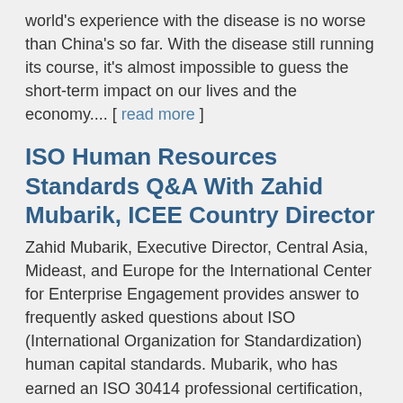world's experience with the disease is no worse than China's so far. With the disease still running its course, it's almost impossible to guess the short-term impact on our lives and the economy.... [ read more ]
ISO Human Resources Standards Q&A With Zahid Mubarik, ICEE Country Director
Zahid Mubarik, Executive Director, Central Asia, Mideast, and Europe for the International Center for Enterprise Engagement provides answer to frequently asked questions about ISO (International Organization for Standardization) human capital standards. Mubarik, who has earned an ISO 30414 professional certification, is also CEO of HR Metrics, an international human capital analytics firm based in Islamabad. ... [ read more ]